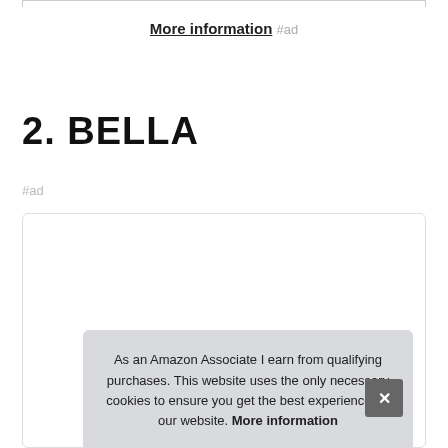More information #ad
2. BELLA
#ad
As an Amazon Associate I earn from qualifying purchases. This website uses the only necessary cookies to ensure you get the best experience on our website. More information